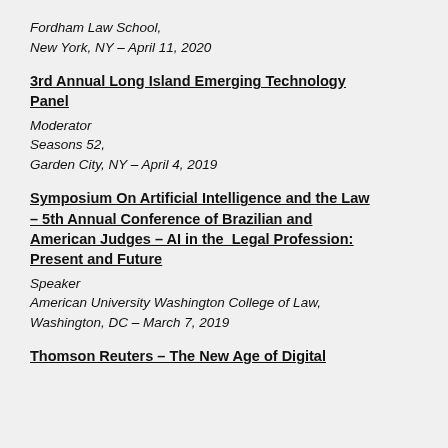Fordham Law School,
New York, NY – April 11, 2020
3rd Annual Long Island Emerging Technology Panel
Moderator
Seasons 52,
Garden City, NY – April 4, 2019
Symposium On Artificial Intelligence and the Law – 5th Annual Conference of Brazilian and American Judges – AI in the Legal Profession: Present and Future
Speaker
American University Washington College of Law,
Washington, DC – March 7, 2019
Thomson Reuters – The New Age of Digital